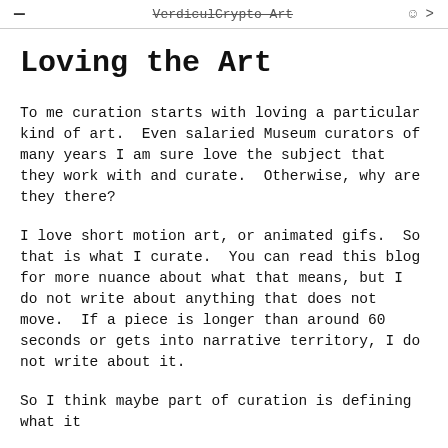≡  VerdiculCrypto Art  ☺ >
Loving the Art
To me curation starts with loving a particular kind of art.  Even salaried Museum curators of many years I am sure love the subject that they work with and curate.  Otherwise, why are they there?
I love short motion art, or animated gifs.  So that is what I curate.  You can read this blog for more nuance about what that means, but I do not write about anything that does not move.  If a piece is longer than around 60 seconds or gets into narrative territory, I do not write about it.
So I think maybe part of curation is defining what it